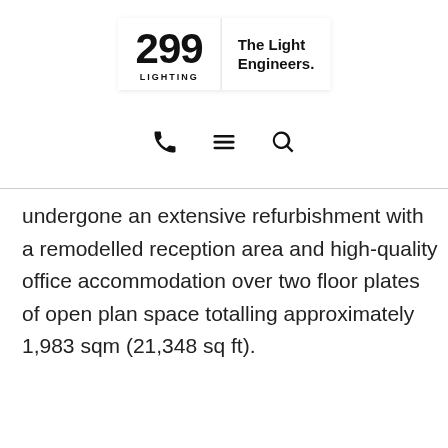299 LIGHTING | The Light Engineers.
[Figure (other): Navigation icons: phone, hamburger menu, search]
undergone an extensive refurbishment with a remodelled reception area and high-quality office accommodation over two floor plates of open plan space totalling approximately 1,983 sqm (21,348 sq ft).